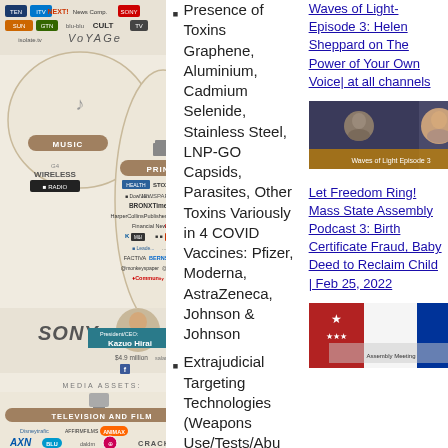[Figure (infographic): Sony media empire infographic showing Music section with 'G4 Wireless' and Print section with multiple publisher logos (STOXX, Bronx Times, HarperCollins, Financial News, Harlequin, Times Leader, Leade, Factiva, Bernstein, community), Sony President/CEO Kazuo Hirai $4.9 million salary, Media Assets section, Television and Film section with logos: Affirm Films, Animax, AXN, Blu-ray, Crackle, CSC Media Group, G2, Habie, MAP, movies4men, Pop, Bcuzz, Sony, Sony Pictures Classics, plus UK TV channel logos at top]
Presence of Toxins Graphene, Aluminium, Cadmium Selenide, Stainless Steel, LNP-GO Capsids, Parasites, Other Toxins Variously in 4 COVID Vaccines: Pfizer, Moderna, AstraZeneca, Johnson & Johnson
Extrajudicial Targeting Technologies (Weapons Use/Tests/Abu
Waves of Light-Episode 3: Helen Sheppard on The Power of Your Own Voice| at all channels
[Figure (photo): Screenshot or thumbnail of Waves of Light Episode 3 video]
Let Freedom Ring! Mass State Assembly Podcast 3: Birth Certificate Fraud, Baby Deed to Reclaim Child | Feb 25, 2022
[Figure (photo): Thumbnail image for Let Freedom Ring podcast episode]